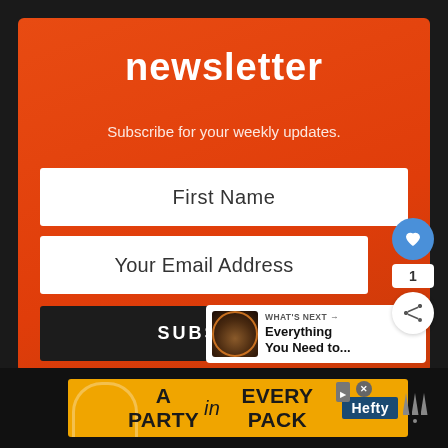[Figure (screenshot): Newsletter signup card with orange/red gradient background, containing title 'newsletter', subtitle 'Subscribe for your weekly updates.', First Name input field, Your Email Address input field, and SUBSCRIBE button. Floating heart button, share button, and 'What's Next' preview card visible on right side. Ad banner at bottom showing 'A PARTY in EVERY PACK' Hefty advertisement.]
newsletter
Subscribe for your weekly updates.
First Name
Your Email Address
SUBSCRIBE
1
WHAT'S NEXT → Everything You Need to...
[Figure (screenshot): Ad banner: A PARTY in EVERY PACK with Hefty logo on orange background]